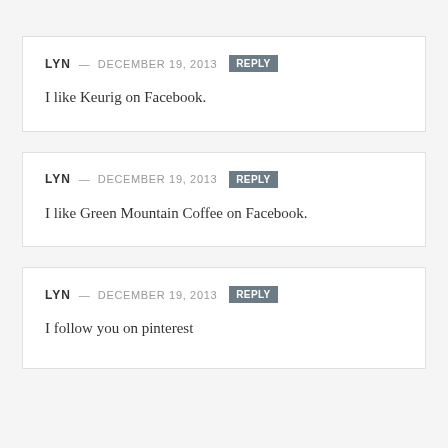LYN — DECEMBER 19, 2013 REPLY
I like Keurig on Facebook.
LYN — DECEMBER 19, 2013 REPLY
I like Green Mountain Coffee on Facebook.
LYN — DECEMBER 19, 2013 REPLY
I follow you on pinterest